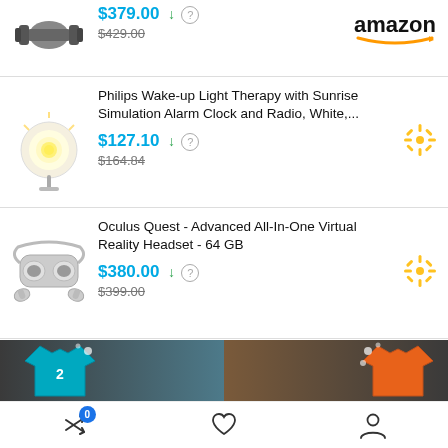[Figure (screenshot): Shopping comparison app screenshot showing product listings with prices]
Adjustable dumbbells - $379.00 (was $429.00) - Amazon
Philips Wake-up Light Therapy with Sunrise Simulation Alarm Clock and Radio, White,... - $127.10 (was $164.84) - Walmart
Oculus Quest - Advanced All-In-One Virtual Reality Headset - 64 GB - $380.00 (was $399.00) - Walmart
[Figure (photo): Sports jerseys advertisement banner - teal/blue jersey and orange jersey]
Bottom navigation bar with compare (0), wishlist, and account icons